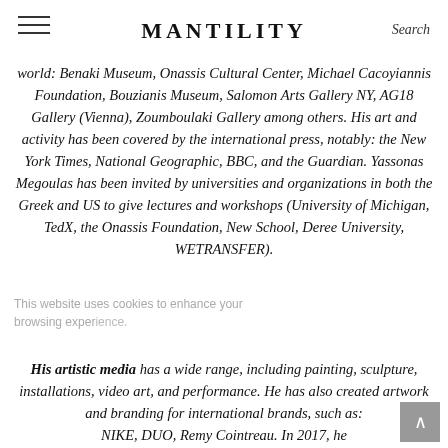MANTILITY | Search
world: Benaki Museum, Onassis Cultural Center, Michael Cacoyiannis Foundation, Bouzianis Museum, Salomon Arts Gallery NY, AG18 Gallery (Vienna), Zoumboulaki Gallery among others. His art and activity has been covered by the international press, notably: the New York Times, National Geographic, BBC, and the Guardian. Yassonas Megoulas has been invited by universities and organizations in both the Greek and US to give lectures and workshops (University of Michigan, TedX, the Onassis Foundation, New School, Deree University, WETRANSFER).
His artistic media has a wide range, including painting, sculpture, installations, video art, and performance. He has also created artwork and branding for international brands, such as: NIKE, DUO, Remy Cointreau. In 2017, he